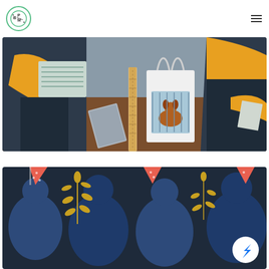[Figure (logo): BPM circular logo with teal/green border and stylized B-P/M lettering]
[Figure (illustration): Overhead editorial illustration: person in yellow jacket sitting at dark desk reading/holding a document, a ruler and white bag with dog print on the desk surface, scattered papers; dark navy/teal background]
[Figure (illustration): Illustration showing festive scene with people/figures in blue, triangular pennant banners in coral/pink, golden leaf branches, against dark navy background; partially cropped at bottom]